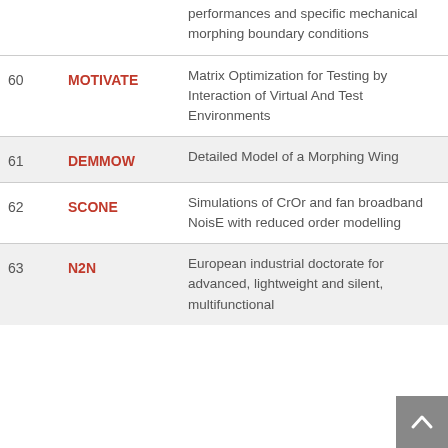| # | Acronym | Full Name |
| --- | --- | --- |
|  |  | performances and specific mechanical morphing boundary conditions |
| 60 | MOTIVATE | Matrix Optimization for Testing by Interaction of Virtual And Test Environments |
| 61 | DEMMOW | Detailed Model of a Morphing Wing |
| 62 | SCONE | Simulations of CrOr and fan broadband NoisE with reduced order modelling |
| 63 | N2N | European industrial doctorate for advanced, lightweight and silent, multifunctional |